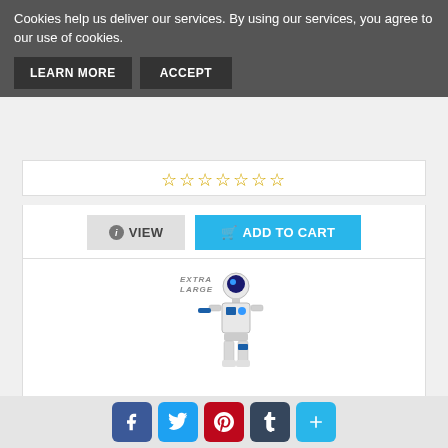Cookies help us deliver our services. By using our services, you agree to our use of cookies.
LEARN MORE   ACCEPT
[Figure (other): Star rating row with 5 outlined gold stars]
VIEW   ADD TO CART
[Figure (photo): Ruko smart robot toy, white and blue, with EXTRA LARGE badge, walking pose]
Ruko Smart Robots for Kids, Large
[Figure (other): Social share bar with Facebook, Twitter, Pinterest, Tumblr, and plus buttons]